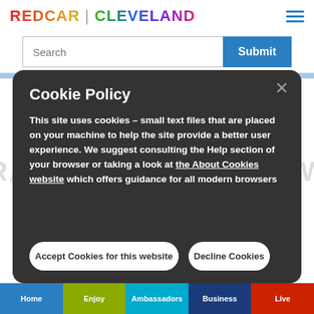REDCAR | CLEVELAND
Search
Submit
Cookie Policy
This site uses cookies – small text files that are placed on your machine to help the site provide a better user experience. We suggest consulting the Help section of your browser or taking a look at the About Cookies website which offers guidance for all modern browsers
Accept Cookies for this website
Decline Cookies
Home   Enjoy   Ambassadors   Business   Live